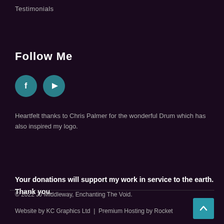Testimonials
Follow Me
[Figure (illustration): Two social media icon circles: Facebook (f) and YouTube (play button), both teal/dark cyan colored]
Heartfelt thanks to Chris Palmer for the wonderful Drum which has also inspired my logo.
[Figure (other): Yellow/orange Donate button]
Your donations will support my work in service to the earth. Thank you.
© 2022 JJ MIddleway, Enchanting The Void.
Website by KC Graphics Ltd  |  Premium Hosting by Rocket